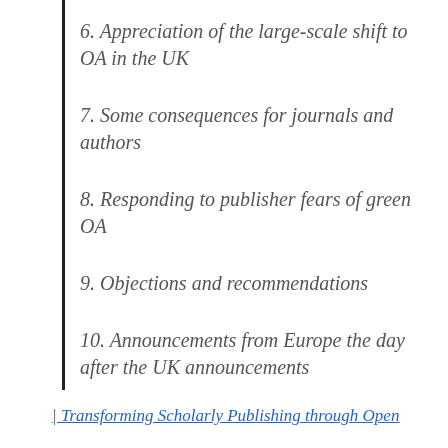6. Appreciation of the large-scale shift to OA in the UK
7. Some consequences for journals and authors
8. Responding to publisher fears of green OA
9. Objections and recommendations
10. Announcements from Europe the day after the UK announcements
| Transforming Scholarly Publishing through Open